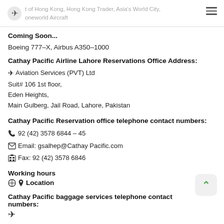t of Hong Kong, Hong Kong Trader, Asia's World City, oneworld Aircraft
Coming Soon...
Boeing 777–X, Airbus A350–1000
Cathay Pacific Airline Lahore Reservations Office Address:
Aviation Services (PVT) Ltd
Suit# 106 1st floor,
Eden Heights,
Main Gulberg, Jail Road, Lahore, Pakistan
Cathay Pacific Reservation office telephone contact numbers:
92 (42) 3578 6844 – 45
Email: gsalhep@Cathay Pacific.com
Fax: 92 (42) 3578 6846
Working hours
Location
Cathay Pacific baggage services telephone contact numbers: